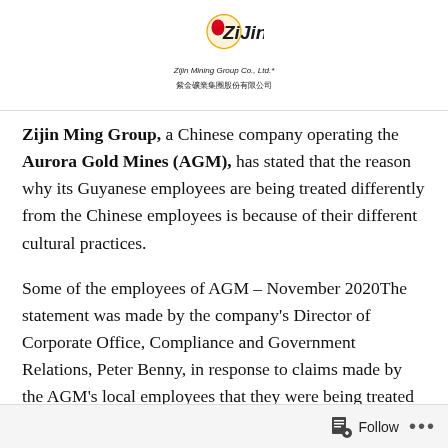[Figure (logo): Zijin Mining Group Co., Ltd. logo with red and gold circular emblem, company name in English and Chinese characters]
Zijin Ming Group, a Chinese company operating the Aurora Gold Mines (AGM), has stated that the reason why its Guyanese employees are being treated differently from the Chinese employees is because of their different cultural practices.
Some of the employees of AGM – November 2020The statement was made by the company's Director of Corporate Office, Compliance and Government Relations, Peter Benny, in response to claims made by the AGM's local employees that they were being treated differently from the Chinese.   Continue reading →
Follow  •••